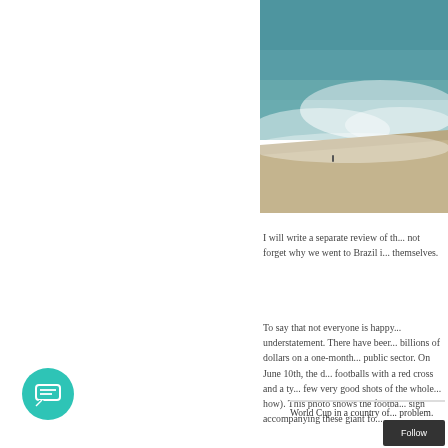[Figure (photo): Aerial or elevated view of a beach with ocean waves washing onto sandy shore; a single small figure stands on the beach]
I will write a separate review of th... not forget why we went to Brazil i... themselves.
To say that not everyone is happy... understatement. There have beer... billions of dollars on a one-month... public sector. On June 10th, the d... footballs with a red cross and a ty... few very good shots of the whole... how). This photo shows the footba... sign accompanying these giant fo...
World Cup in a country of... problem.